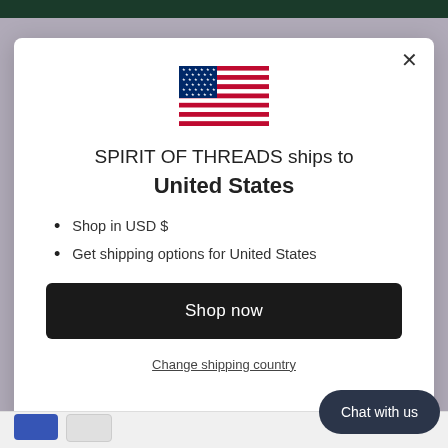[Figure (screenshot): US flag SVG illustration centered at top of modal]
SPIRIT OF THREADS ships to United States
Shop in USD $
Get shipping options for United States
Shop now
Change shipping country
Chat with us